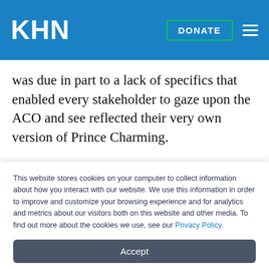KHN | DONATE
was due in part to a lack of specifics that enabled every stakeholder to gaze upon the ACO and see reflected their very own version of Prince Charming.
Conservatives hail the ACO as marketplace medicine, while liberals focus on organized systems of care replacing fee-for-service chaos. Providers [partially visible line cut off]
This website stores cookies on your computer to collect information about how you interact with our website. We use this information in order to improve and customize your browsing experience and for analytics and metrics about our visitors both on this website and other media. To find out more about the cookies we use, see our Privacy Policy.